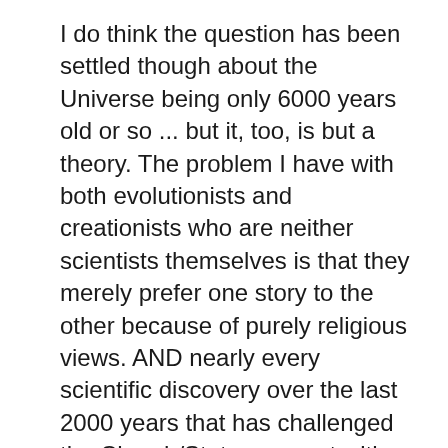I do think the question has been settled though about the Universe being only 6000 years old or so ... but it, too, is but a theory. The problem I have with both evolutionists and creationists who are neither scientists themselves is that they merely prefer one story to the other because of purely religious views. AND nearly every scientific discovery over the last 2000 years that has challenged the Church/State was met with harsh punishment. Today we have the 'climate change' folks who will ignore any scientific finding that contradicts them.
In questions of science, let theories be theories instead of trying to codify